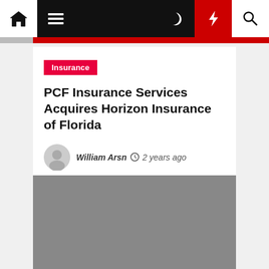Navigation bar with home, menu, moon, bolt, and search icons
Insurance
PCF Insurance Services Acquires Horizon Insurance of Florida
William Arsn  2 years ago
[Figure (photo): Gray placeholder image below the article header]